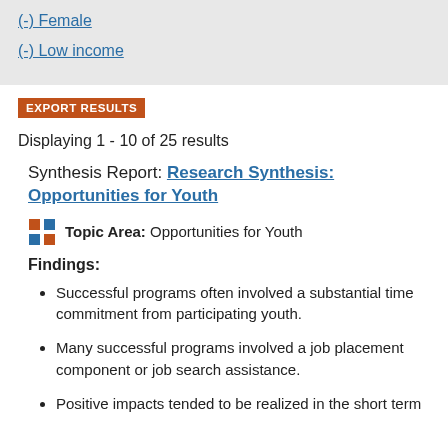(-) Female
(-) Low income
EXPORT RESULTS
Displaying 1 - 10 of 25 results
Synthesis Report: Research Synthesis: Opportunities for Youth
Topic Area: Opportunities for Youth
Findings:
Successful programs often involved a substantial time commitment from participating youth.
Many successful programs involved a job placement component or job search assistance.
Positive impacts tended to be realized in the short term